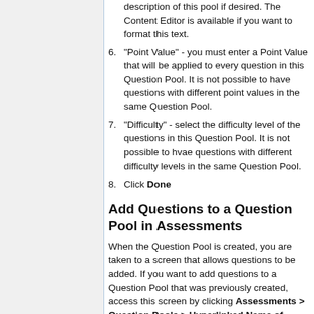"Point Value" - you must enter a Point Value that will be applied to every question in this Question Pool. It is not possible to have questions with different point values in the same Question Pool.
"Difficulty" - select the difficulty level of the questions in this Question Pool. It is not possible to hvae questions with different difficulty levels in the same Question Pool.
Click Done
Add Questions to a Question Pool in Assessments
When the Question Pool is created, you are taken to a screen that allows questions to be added. If you want to add questions to a Question Pool that was previously created, access this screen by clicking Assessments > Question Pools > Hyperlinked Name of